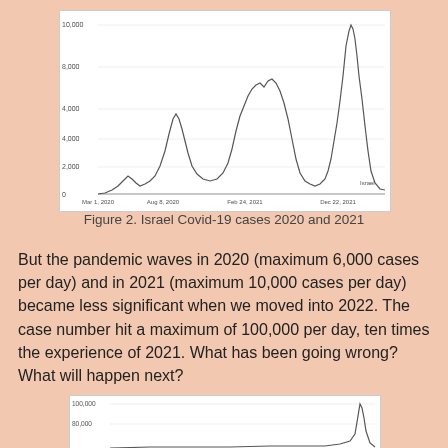[Figure (continuous-plot): Line chart of Israel Covid-19 daily cases from Mar 2020 to Dec 2021, showing 3 waves peaking around 6,000 (Aug 2020), 8,500 (Feb 2021), and 10,000 (Dec 2021).]
Figure 2. Israel Covid-19 cases 2020 and 2021
But the pandemic waves in 2020 (maximum 6,000 cases per day) and in 2021 (maximum 10,000 cases per day) became less significant when we moved into 2022. The case number hit a maximum of 100,000 per day, ten times the experience of 2021. What has been going wrong? What will happen next?
[Figure (continuous-plot): Partial line chart showing the bottom portion of Israel Covid-19 cases 2022, y-axis starting at 100,000, with a spike visible at the right edge.]